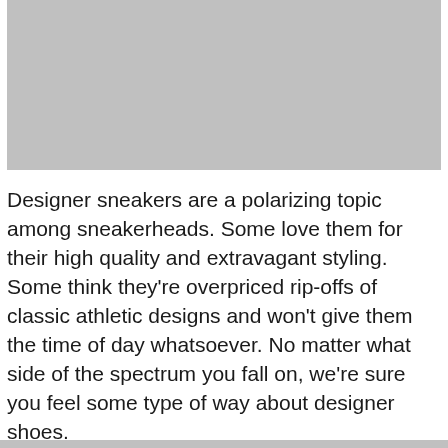[Figure (photo): A large gray placeholder image rectangle at the top of the page]
Designer sneakers are a polarizing topic among sneakerheads. Some love them for their high quality and extravagant styling. Some think they're overpriced rip-offs of classic athletic designs and won't give them the time of day whatsoever. No matter what side of the spectrum you fall on, we're sure you feel some type of way about designer shoes.